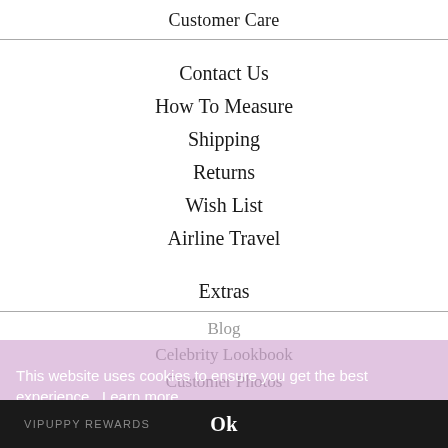Customer Care
Contact Us
How To Measure
Shipping
Returns
Wish List
Airline Travel
Extras
Blog
Celebrity Lookbook
Customer Photos
Press
This website uses cookies to ensure you get the best experience. Learn more
VIPUPPY REWARDS
Ok